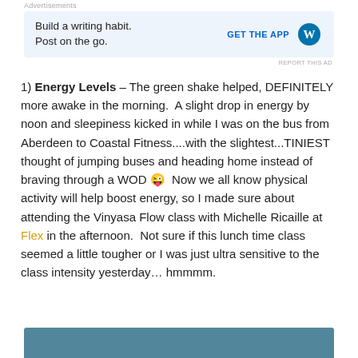Advertisements
[Figure (other): WordPress advertisement banner with text 'Build a writing habit. Post on the go.' and 'GET THE APP' button with WordPress logo]
1) Energy Levels – The green shake helped, DEFINITELY more awake in the morning.  A slight drop in energy by noon and sleepiness kicked in while I was on the bus from Aberdeen to Coastal Fitness....with the slightest...TINIEST thought of jumping buses and heading home instead of braving through a WOD 😜  Now we all know physical activity will help boost energy, so I made sure about attending the Vinyasa Flow class with Michelle Ricaille at Flex in the afternoon.  Not sure if this lunch time class seemed a little tougher or I was just ultra sensitive to the class intensity yesterday… hmmmm.
[Figure (photo): Partial image at bottom of page, appears to show a blue/teal colored scene]